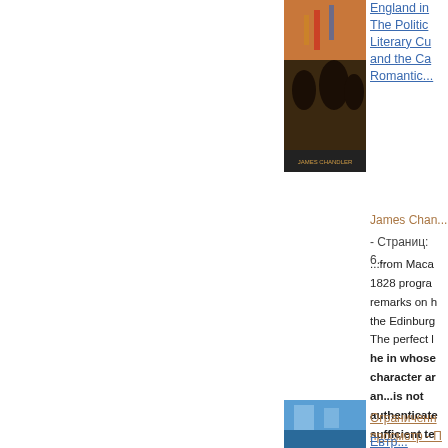[Figure (photo): Book cover thumbnail showing a historical painting scene]
England in... The Politics Literary Cu... and the Ca... Romantic...
James Chan...
- Страниц: 6...
...from Maca 1828 progra remarks on h the Edinburg The perfect l he in whose character ar an...is not authenticate sufficient te But byjudicio selection, rej arrangemen to truth those attractions w been...
Ограниченн просмотр - Подробнее о книге
[Figure (photo): Second book cover thumbnail, partial view at bottom]